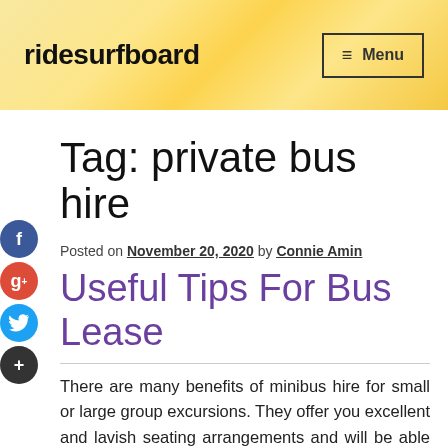ridesurfboard   Menu
Tag: private bus hire
Posted on November 20, 2020 by Connie Amin
Useful Tips For Bus Lease
There are many benefits of minibus hire for small or large group excursions. They offer you excellent and lavish seating arrangements and will be able to allow you to prevent the hassle of attaining one location from